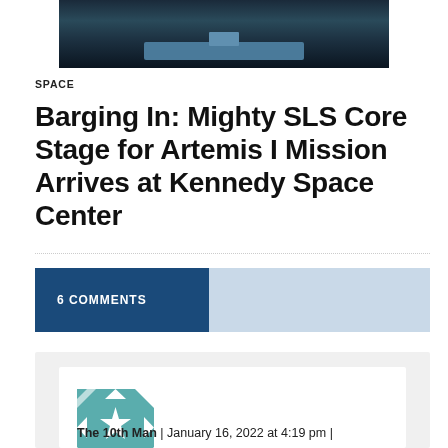[Figure (photo): Aerial or water-level photo of a barge carrying a large rocket component on water, with dramatic lighting]
SPACE
Barging In: Mighty SLS Core Stage for Artemis I Mission Arrives at Kennedy Space Center
6 COMMENTS
The 10th Man | January 16, 2022 at 4:19 pm |